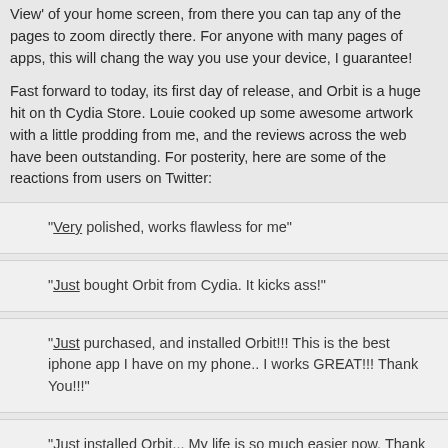View' of your home screen, from there you can tap any of the pages to zoom directly there. For anyone with many pages of apps, this will change the way you use your device, I guarantee!
Fast forward to today, its first day of release, and Orbit is a huge hit on the Cydia Store. Louie cooked up some awesome artwork with a little prodding from me, and the reviews across the web have been outstanding. For posterity, here are some of the reactions from users on Twitter:
"Very polished, works flawless for me"
"Just bought Orbit from Cydia. It kicks ass!"
"Just purchased, and installed Orbit!!! This is the best iphone app I have on my phone.. I works GREAT!!! Thank You!!!"
"Just installed Orbit... My life is so much easier now. Thank you! Probably the best thing ever for the iPhone."
Orbit 1.0 is available now from the Cydia Store at $1.99, but the story only begins here. There are many awesome improvements in the pipeline, and I hope you all enjoy Orbit as much as I have enjoyed making it. Please spread the word!